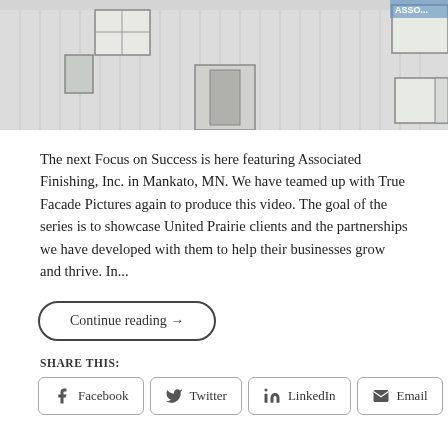[Figure (photo): Exterior photo of Associated Finishing, Inc. building in Mankato, MN — a white/grey metal-sided building with windows and a partial company sign visible at top]
The next Focus on Success is here featuring Associated Finishing, Inc. in Mankato, MN. We have teamed up with True Facade Pictures again to produce this video. The goal of the series is to showcase United Prairie clients and the partnerships we have developed with them to help their businesses grow and thrive. In...
Continue reading →
SHARE THIS:
Facebook
Twitter
LinkedIn
Email